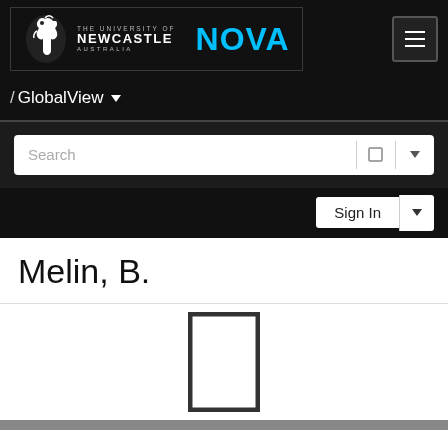[Figure (screenshot): University of Newcastle NOVA portal navigation header with logo, search bar, and sign-in button]
Melin, B.
[Figure (other): Placeholder image icon - empty rectangle/portrait frame]